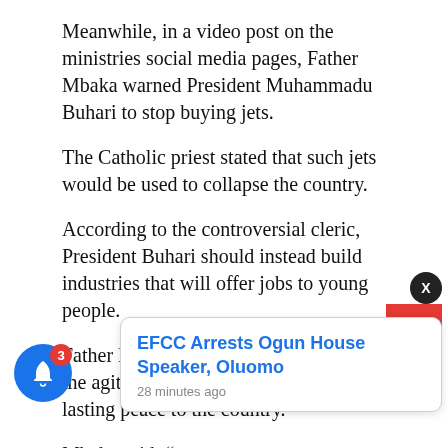Meanwhile, in a video post on the ministries social media pages, Father Mbaka warned President Muhammadu Buhari to stop buying jets.
The Catholic priest stated that such jets would be used to collapse the country.
According to the controversial cleric, President Buhari should instead build industries that will offer jobs to young people.
Father Mbaka urged Buhari to listen to the agitations of individual to bring lasting peace to the country.
Mbaka said: “…ts you are…pse Nigeria. Please the first person to meet President Buhari after this message should tell him that
[Figure (other): Notification popup card with title 'EFCC Arrests Ogun House Speaker, Oluomo' and timestamp '28 minutes ago', with a close button (X) and a blue notification bell icon with badge showing 3]